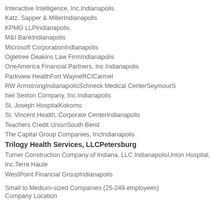Interactive Intelligence, Inc.Indianapolis
Katz, Sapper & MillerIndianapolis
KPMG LLPIndianapolis
M&I BankIndianapolis
Microsoft CorporationIndianapolis
Ogletree Deakins Law FirmIndianapolis
OneAmerica Financial Partners, Inc.Indianapolis
Parkview HealthFort WayneRCICarmel
RW ArmstrongIndianapolisSchneck Medical CenterSeymourS
hiel Sexton Company, Inc.Indianapolis
St. Joseph HospitalKokomo
St. Vincent Health, Corporate CenterIndianapolis
Teachers Credit UnionSouth Bend
The Capital Group Companies, IncIndianapolis
Trilogy Health Services, LLCPetersburg
Turner Construction Company of Indiana, LLC IndianapolisUnion Hospital, Inc.Terre Haute
WestPoint Financial GroupIndianapolis
Small to Medium-sized Companies (25-249 employees)
Company Location